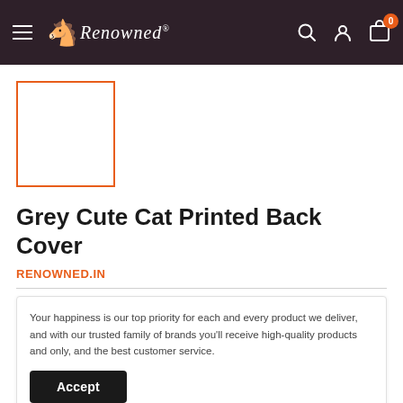Renowned
[Figure (other): Product thumbnail placeholder with orange border]
Grey Cute Cat Printed Back Cover
RENOWNED.IN
Your happiness is our top priority for each and every product we deliver, and with our trusted family of brands you'll receive high-quality products and only, and the best customer service.
Accept